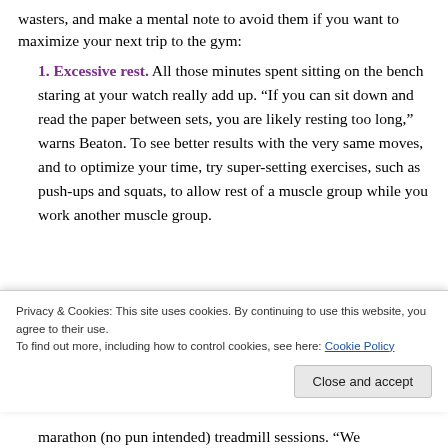wasters, and make a mental note to avoid them if you want to maximize your next trip to the gym:
1. Excessive rest. All those minutes spent sitting on the bench staring at your watch really add up. “If you can sit down and read the paper between sets, you are likely resting too long,” warns Beaton. To see better results with the very same moves, and to optimize your time, try super-setting exercises, such as push-ups and squats, to allow rest of a muscle group while you work another muscle group.
Privacy & Cookies: This site uses cookies. By continuing to use this website, you agree to their use. To find out more, including how to control cookies, see here: Cookie Policy
Close and accept
marathon (no pun intended) treadmill sessions. “We